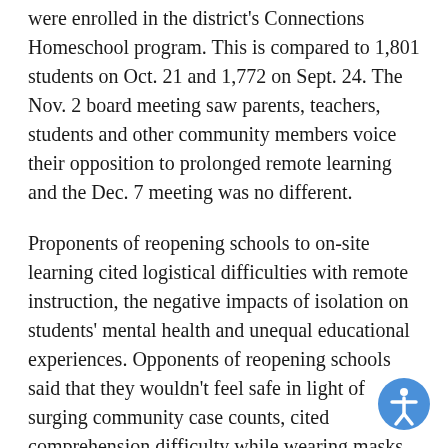were enrolled in the district's Connections Homeschool program. This is compared to 1,801 students on Oct. 21 and 1,772 on Sept. 24. The Nov. 2 board meeting saw parents, teachers, students and other community members voice their opposition to prolonged remote learning and the Dec. 7 meeting was no different.
Proponents of reopening schools to on-site learning cited logistical difficulties with remote instruction, the negative impacts of isolation on students' mental health and unequal educational experiences. Opponents of reopening schools said that they wouldn't feel safe in light of surging community case counts, cited comprehension difficulty while wearing masks to teach and expressed their fears of spreading COVID to their peers.